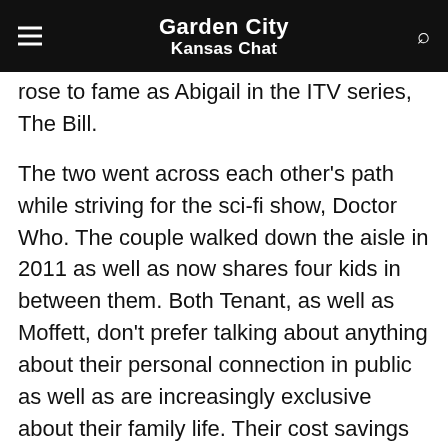Garden City Kansas Chat
rose to fame as Abigail in the ITV series, The Bill.
The two went across each other's path while striving for the sci-fi show, Doctor Who. The couple walked down the aisle in 2011 as well as now shares four kids in between them. Both Tenant, as well as Moffett, don't prefer talking about anything about their personal connection in public as well as are increasingly exclusive about their family life. Their cost savings have been good enough to